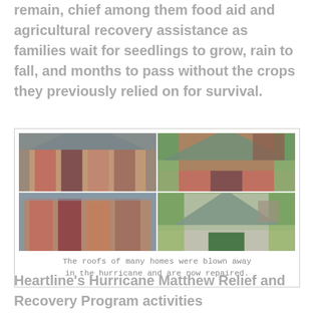remain, chief among them food aid and agricultural recovery assistance as families wait for seedlings to grow, rain to fall, and months to pass without the crops they previously relied on for survival.
[Figure (photo): A 2x2 grid of photos showing homes before and after hurricane roof damage repair. Left column shows damaged homes with roofs blown away; right column shows the same or similar homes with repaired roofs.]
The roofs of many homes were blown away in the hurricane and are now repaired.
Heartline's Hurricane Matthew Relief and Recovery Program activities